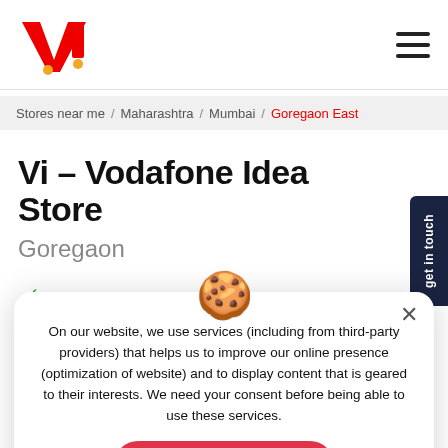Vi logo and navigation hamburger menu
Stores near me / Maharashtra / Mumbai / Goregaon East
Vi – Vodafone Idea Store
Goregaon
On our website, we use services (including from third-party providers) that helps us to improve our online presence (optimization of website) and to display content that is geared to their interests. We need your consent before being able to use these services.
Okay, Thanks